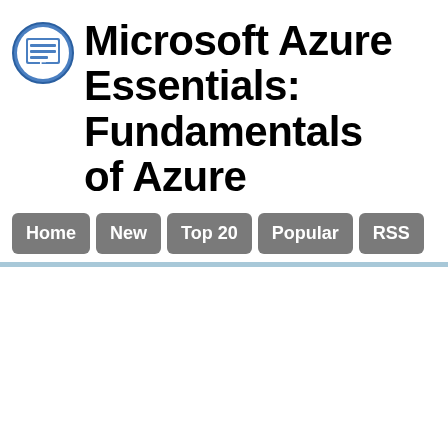Microsoft Azure Essentials: Fundamentals of Azure
[Figure (logo): Circular logo with letter E inside a book icon, blue and white colors]
Home | New | Top 20 | Popular | RSS